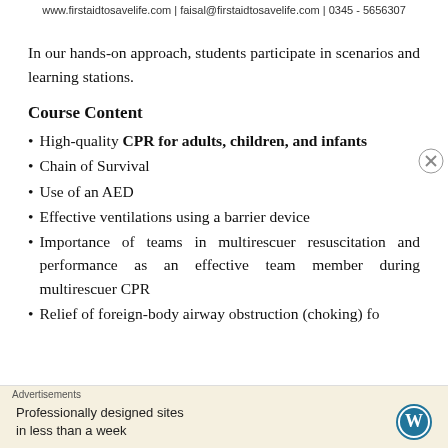www.firstaidtosavelife.com | faisal@firstaidtosavelife.com | 0345 - 5656307
In our hands-on approach, students participate in scenarios and learning stations.
Course Content
High-quality CPR for adults, children, and infants
Chain of Survival
Use of an AED
Effective ventilations using a barrier device
Importance of teams in multirescuer resuscitation and performance as an effective team member during multirescuer CPR
Relief of foreign-body airway obstruction (choking) fo...
Advertisements
Professionally designed sites in less than a week